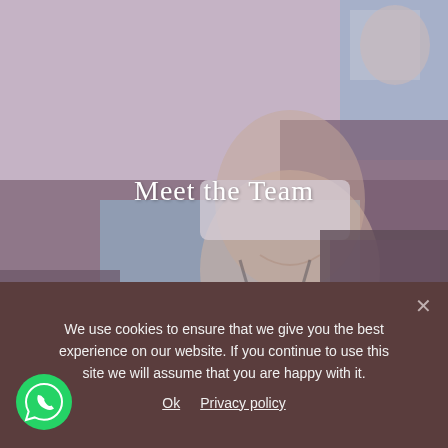[Figure (photo): A smiling young man wearing a light blue shirt with a camera hanging around his neck, seated on a dark leather couch. Part of a second person in a blue shirt is visible in the upper right. The image has a muted, slightly desaturated tone with a lavender-pink overlay.]
Meet the Team
We use cookies to ensure that we give you the best experience on our website. If you continue to use this site we will assume that you are happy with it.
Ok   Privacy policy